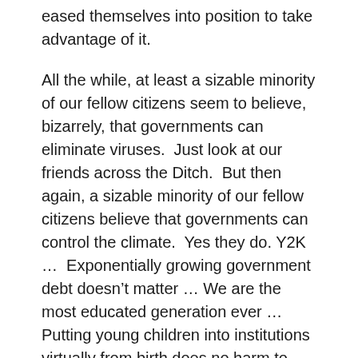eased themselves into position to take advantage of it.
All the while, at least a sizable minority of our fellow citizens seem to believe, bizarrely, that governments can eliminate viruses.  Just look at our friends across the Ditch.  But then again, a sizable minority of our fellow citizens believe that governments can control the climate.  Yes they do.  Y2K …  Exponentially growing government debt doesn't matter … We are the most educated generation ever … Putting young children into institutions virtually from birth does no harm to them … Abortion isn't murder …
Someone pass me the dictionary so I can look up “cognitive dissonance”.  While we all strap ourselves in for a very, very long Covid.